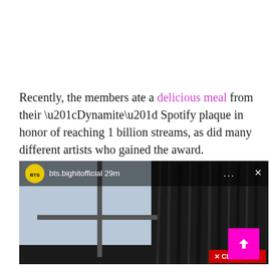Recently, the members ate a delicious meal from their “Dynamite” Spotify plaque in honor of reaching 1 billion streams, as did many different artists who gained the award.
[Figure (screenshot): Instagram or social media story screenshot showing BTS bighitofficial post, 29m ago, with a dark curtain/window background image. Has a close button overlay.]